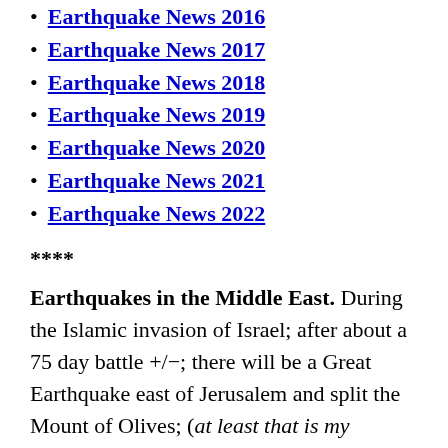Earthquake News 2016
Earthquake News 2017
Earthquake News 2018
Earthquake News 2019
Earthquake News 2020
Earthquake News 2021
Earthquake News 2022
****
Earthquakes in the Middle East. During the Islamic invasion of Israel; after about a 75 day battle +/−; there will be a Great Earthquake east of Jerusalem and split the Mount of Olives; (at least that is my understanding of the Old Testament Scriptures), as to allow some of the